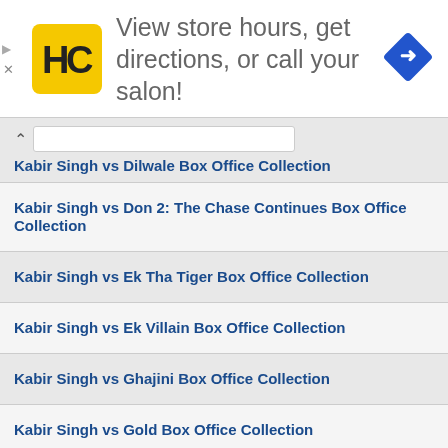[Figure (screenshot): Advertisement banner with HC logo and text 'View store hours, get directions, or call your salon!' with a blue navigation arrow icon]
Kabir Singh vs Dilwale Box Office Collection
Kabir Singh vs Don 2: The Chase Continues Box Office Collection
Kabir Singh vs Ek Tha Tiger Box Office Collection
Kabir Singh vs Ek Villain Box Office Collection
Kabir Singh vs Ghajini Box Office Collection
Kabir Singh vs Gold Box Office Collection
Kabir Singh vs Goliyon Ki Rasleela Ram-Leela Box Office Collection
Kabir Singh vs Golmaal 3 Box Office Collection